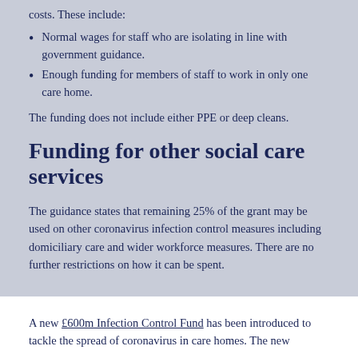costs. These include:
Normal wages for staff who are isolating in line with government guidance.
Enough funding for members of staff to work in only one care home.
The funding does not include either PPE or deep cleans.
Funding for other social care services
The guidance states that remaining 25% of the grant may be used on other coronavirus infection control measures including domiciliary care and wider workforce measures. There are no further restrictions on how it can be spent.
A new £600m Infection Control Fund has been introduced to tackle the spread of coronavirus in care homes. The new